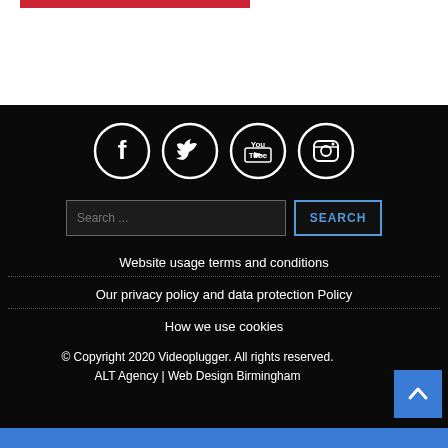[Figure (infographic): Red navigation bar element at top]
[Figure (infographic): Social media icons row: Facebook, Twitter, YouTube, Instagram - white circle icons on black background]
Search ...
Website usage terms and conditions
Our privacy policy and data protection Policy
How we use cookies
© Copyright 2020 Videoplugger. All rights reserved. ALT Agency | Web Design Birmingham